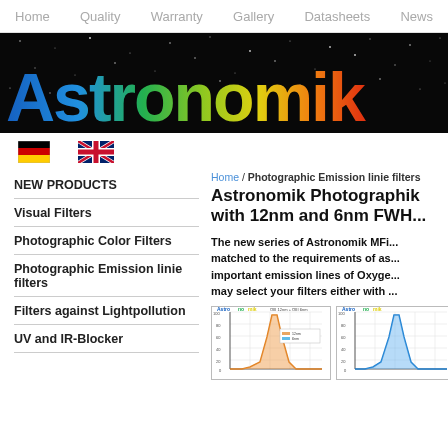Home  Quality  Warranty  Gallery  Datasheets  News
[Figure (logo): Astronomik logo on black starfield banner with rainbow-colored letters]
[Figure (illustration): German flag icon and UK flag icon for language selection]
NEW PRODUCTS
Visual Filters
Photographic Color Filters
Photographic Emission linie filters
Filters against Lightpollution
UV and IR-Blocker
Home / Photographic Emission linie filters
Astronomik Photographic ... with 12nm and 6nm FWH...
The new series of Astronomik MF... matched to the requirements of as... important emission lines of Oxyge... may select your filters either with ...
[Figure (continuous-plot): Astronomik OIII filter transmission chart (partial view)]
[Figure (continuous-plot): Second Astronomik filter transmission chart (partial view)]